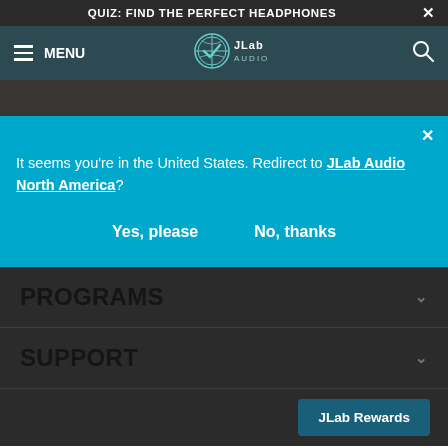QUIZ: FIND THE PERFECT HEADPHONES
[Figure (logo): JLab Audio navigation bar with hamburger menu, logo, and search icon]
It seems you're in the United States. Redirect to JLab Audio North America?
Yes, please    No, thanks
PROGRAMS
SUPPORT
JLab Rewards